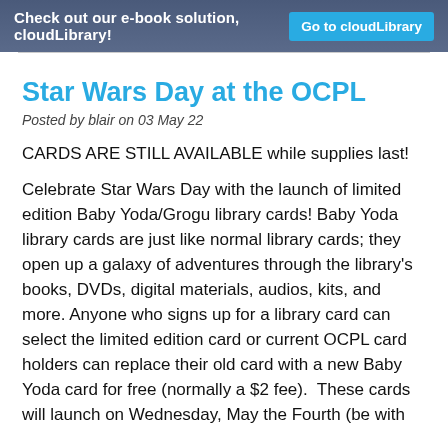Check out our e-book solution, cloudLibrary! Go to cloudLibrary
Star Wars Day at the OCPL
Posted by blair on 03 May 22
CARDS ARE STILL AVAILABLE while supplies last!
Celebrate Star Wars Day with the launch of limited edition Baby Yoda/Grogu library cards! Baby Yoda library cards are just like normal library cards; they open up a galaxy of adventures through the library's books, DVDs, digital materials, audios, kits, and more. Anyone who signs up for a library card can select the limited edition card or current OCPL card holders can replace their old card with a new Baby Yoda card for free (normally a $2 fee).  These cards will launch on Wednesday, May the Fourth (be with